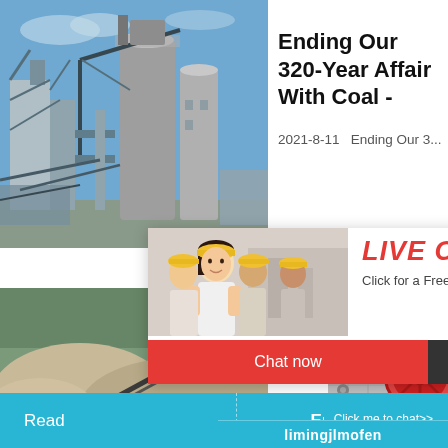[Figure (photo): Industrial coal/cement facility with large storage silos and metal scaffolding structures against a blue sky]
Ending Our 320-Year Affair With Coal -
2021-8-11   Ending Our 3...
[Figure (photo): Live chat popup with workers in yellow hard hats, red LIVE CHAT text, 'Click for a Free Consultation', Chat now (red) and Chat later (dark) buttons]
hour online
[Figure (photo): Mining site with conveyor belt and piles of crushed stone/gravel material]
Contac Pfeiffen
Coal grin
[Figure (photo): Industrial jaw crusher machine with red flywheel]
Click me to chat>>
Read
Enquiry
limingjlmofen